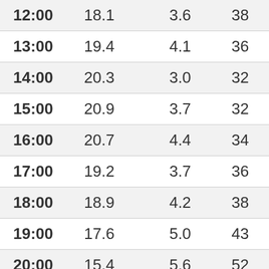| 12:00 | 18.1 | 3.6 | 38 |
| 13:00 | 19.4 | 4.1 | 36 |
| 14:00 | 20.3 | 3.0 | 32 |
| 15:00 | 20.9 | 3.7 | 32 |
| 16:00 | 20.7 | 4.4 | 34 |
| 17:00 | 19.2 | 3.7 | 36 |
| 18:00 | 18.9 | 4.2 | 38 |
| 19:00 | 17.6 | 5.0 | 43 |
| 20:00 | 15.4 | 5.6 | 52 |
| 21:00 | 13.4 | 5.9 | 60 |